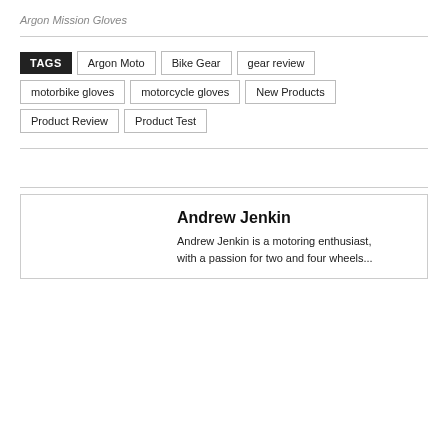Argon Mission Gloves
TAGS  Argon Moto  Bike Gear  gear review  motorbike gloves  motorcycle gloves  New Products  Product Review  Product Test
Andrew Jenkin
Andrew Jenkin is a motoring enthusiast, with a passion for two and four wheels...